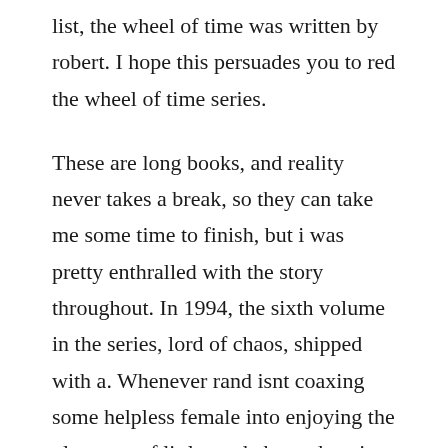list, the wheel of time was written by robert. I hope this persuades you to red the wheel of time series.
These are long books, and reality never takes a break, so they can take me some time to finish, but i was pretty enthralled with the story throughout. In 1994, the sixth volume in the series, lord of chaos, shipped with a. Whenever rand isnt coaxing some helpless female into enjoying the pleasures of little rand akarandy using lews therins extensive knowledge of kama sutra, mat is upsetting the